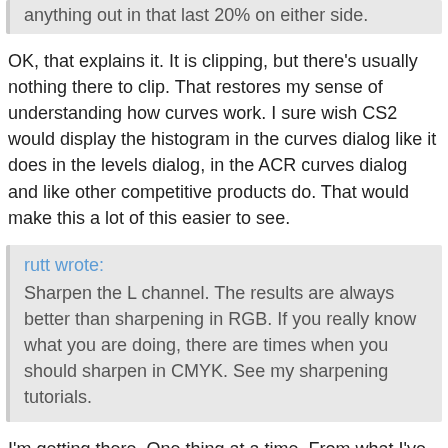anything out in that last 20% on either side.
OK, that explains it. It is clipping, but there's usually nothing there to clip. That restores my sense of understanding how curves work. I sure wish CS2 would display the histogram in the curves dialog like it does in the levels dialog, in the ACR curves dialog and like other competitive products do. That would make this a lot of this easier to see.
rutt wrote: Sharpen the L channel. The results are always better than sharpening in RGB. If you really know what you are doing, there are times when you should sharpen in CMYK. See my sharpening tutorials.
I'm getting there. One thing at a time. From what I've read there's not much difference between sharpening the L channel in LAB mode versus sharpening in RGB mode and then fade to luminosity. Also, is there a way to see the full color version of your image while you are sharpening the L channel? Or do you have to only look at the L channel while doing the actual sharpening?